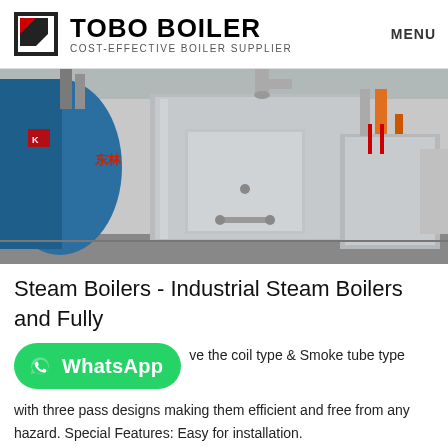TOBO BOILER - COST-EFFECTIVE BOILER SUPPLIER | MENU
[Figure (photo): Industrial boiler room showing multiple large stainless steel steam boilers with blue cylindrical vessel on the left, pipes overhead, and orange support structures in the background.]
Steam Boilers - Industrial Steam Boilers and Fully
WhatsApp [button] ve the coil type & Smoke tube type with three pass designs making them efficient and free from any hazard. Special Features: Easy for installation.